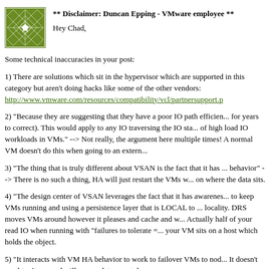[Figure (illustration): Green geometric/ornamental square avatar icon with white star/lattice pattern]
** Disclaimer: Duncan Epping - VMware employee **
Hey Chad,
Some technical inaccuracies in your post:
1) There are solutions which sit in the hypervisor which are supported in this category but aren't doing hacks like some of the other vendors: http://www.vmware.com/resources/compatibility/vcl/partnersupport.p
2) "Because they are suggesting that they have a poor IO path efficien... for years to correct). This would apply to any IO traversing the IO sta... of high load IO workloads in VMs." --> Not really, the argument here multiple times! A normal VM doesn't do this when going to an extern...
3) "The thing that is truly different about VSAN is the fact that it has ... behavior" --> There is no such a thing, HA will just restart the VMs w... on where the data sits.
4) "The design center of VSAN leverages the fact that it has awarenes... to keep VMs running and using a persistence layer that is LOCAL to ... locality. DRS moves VMs around however it pleases and cache and w... Actually half of your read IO when running with "failures to tolerate =... your VM sits on a host which holds the object.
5) "It interacts with VM HA behavior to work to failover VMs to nod... It doesn't need to. It can and will access data remotely.